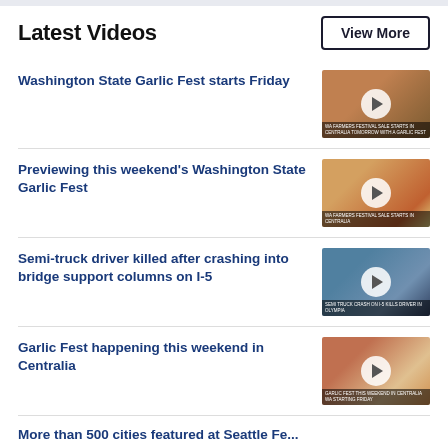Latest Videos
View More
Washington State Garlic Fest starts Friday
Previewing this weekend's Washington State Garlic Fest
Semi-truck driver killed after crashing into bridge support columns on I-5
Garlic Fest happening this weekend in Centralia
More than 500 cities featured at Seattle Fear...